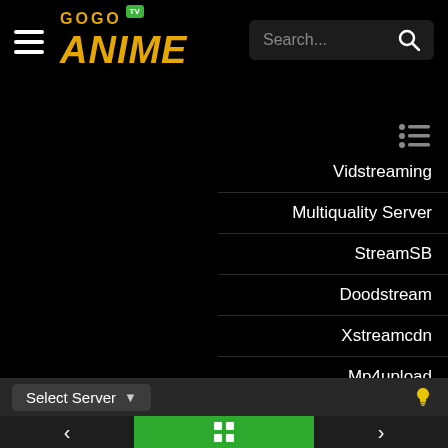[Figure (screenshot): GogoAnime TV website header with logo, hamburger menu, and search bar on black background]
Vidstreaming
Multiquality Server
StreamSB
Doodstream
Xstreamcdn
Mp4upload
Select Server
[Figure (screenshot): Bottom navigation bar with left arrow, grid/episode icon in green center button, and right arrow]